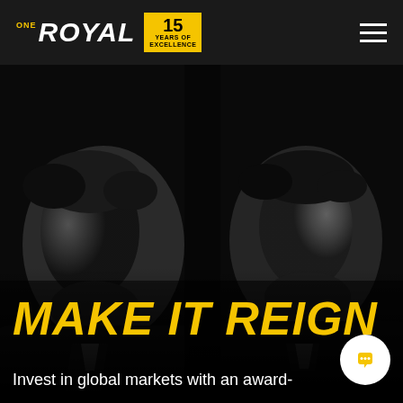ONE ROYAL — 15 YEARS OF EXCELLENCE
[Figure (photo): Black and white photo of two men in suits facing opposite directions, backs nearly touching, with serious expressions. Dark moody lighting.]
MAKE IT REIGN
Invest in global markets with an award-winning trading platform